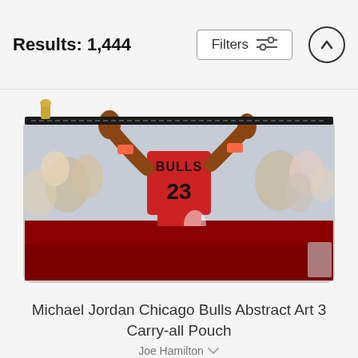Results: 1,444
[Figure (photo): A carry-all pouch product featuring a painted/illustrated image of Michael Jordan in a Chicago Bulls #23 jersey mid-air, with crowd in background. Pouch has a gold zipper at the top.]
Michael Jordan Chicago Bulls Abstract Art 3 Carry-all Pouch
Joe Hamilton